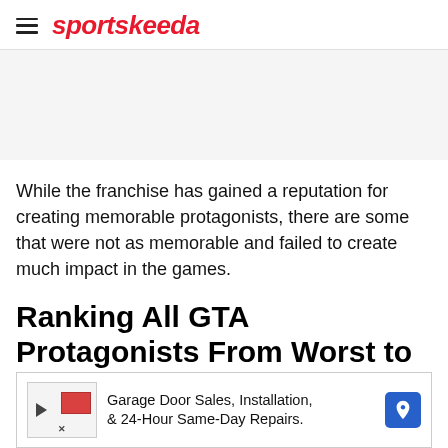sportskeeda
While the franchise has gained a reputation for creating memorable protagonists, there are some that were not as memorable and failed to create much impact in the games.
Ranking All GTA Protagonists From Worst to Best
(Dis)Honorable Mentions:
These characters were perhaps the least developed and not offered enough for them to be memorable.
[Figure (other): Advertisement banner: Garage Door Sales, Installation, & 24-Hour Same-Day Repairs.]